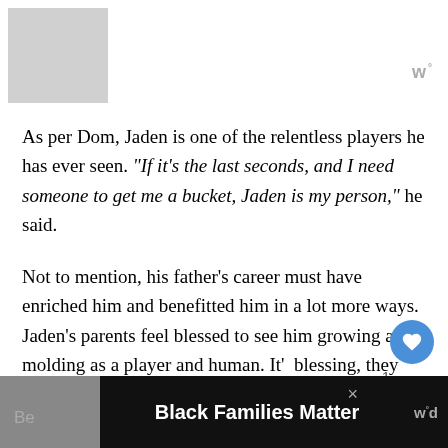[Figure (photo): Gray placeholder image in top-left corner]
w°
As per Dom, Jaden is one of the relentless players he has ever seen. “If it’s the last seconds, and I need someone to get me a bucket, Jaden is my person,” he said.
Not to mention, his father’s career must have enriched him and benefitted him in a lot more ways. Jaden’s parents feel blessed to see him growing and molding as a player and human. It’s a blessing, they say.
[Figure (photo): Advertisement banner at bottom: Black Families Matter, with a photo of a family and website logo]